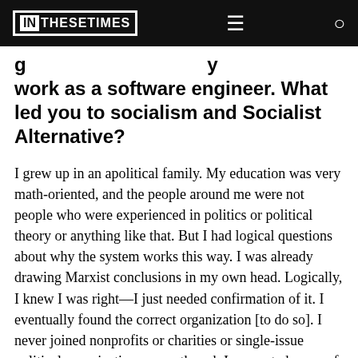IN THESE TIMES
work as a software engineer. What led you to socialism and Socialist Alternative?
I grew up in an apolitical family. My education was very math-oriented, and the people around me were not people who were experienced in politics or political theory or anything like that. But I had logical questions about why the system works this way. I was already drawing Marxist conclusions in my own head. Logically, I knew I was right—I just needed confirmation of it. I eventually found the correct organization [to do so]. I never joined nonprofits or charities or single-issue political organizations, even though I supported some of their causes, because I never thought that they could build the type...